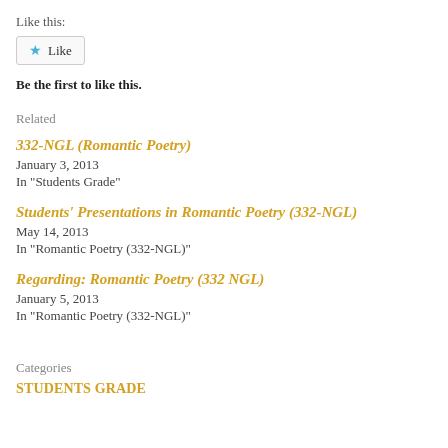Like this:
[Figure (other): Like button with a blue star icon and the word 'Like']
Be the first to like this.
Related
332-NGL (Romantic Poetry)
January 3, 2013
In "Students Grade"
Students' Presentations in Romantic Poetry (332-NGL)
May 14, 2013
In "Romantic Poetry (332-NGL)"
Regarding: Romantic Poetry (332 NGL)
January 5, 2013
In "Romantic Poetry (332-NGL)"
Categories
STUDENTS GRADE